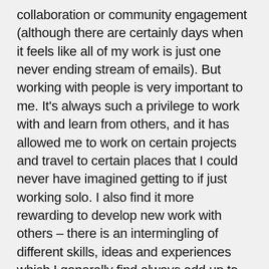collaboration or community engagement (although there are certainly days when it feels like all of my work is just one never ending stream of emails). But working with people is very important to me. It's always such a privilege to work with and learn from others, and it has allowed me to work on certain projects and travel to certain places that I could never have imagined getting to if just working solo. I also find it more rewarding to develop new work with others – there is an intermingling of different skills, ideas and experiences which I generally find always add up to more than the sum of their parts.
Research is also important – research in quite a fluid, informal sense. In my role at CAMPLE LINE I am often researching films, thinking about film programmes, and contacting filmmakers and